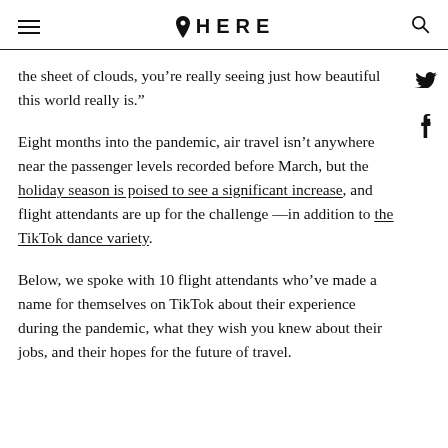HERE
the sheet of clouds, you’re really seeing just how beautiful this world really is.”
Eight months into the pandemic, air travel isn’t anywhere near the passenger levels recorded before March, but the holiday season is poised to see a significant increase, and flight attendants are up for the challenge —in addition to the TikTok dance variety.
Below, we spoke with 10 flight attendants who’ve made a name for themselves on TikTok about their experience during the pandemic, what they wish you knew about their jobs, and their hopes for the future of travel.